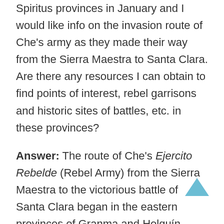Spiritus provinces in January and I would like info on the invasion route of Che's army as they made their way from the Sierra Maestra to Santa Clara. Are there any resources I can obtain to find points of interest, rebel garrisons and historic sites of battles, etc. in these provinces?
Answer: The route of Che's Ejercito Rebelde (Rebel Army) from the Sierra Maestra to the victorious battle of Santa Clara began in the eastern provinces of Granma and Holguín. Important sites include the following:
Las Coloradas, where the Granma launch first